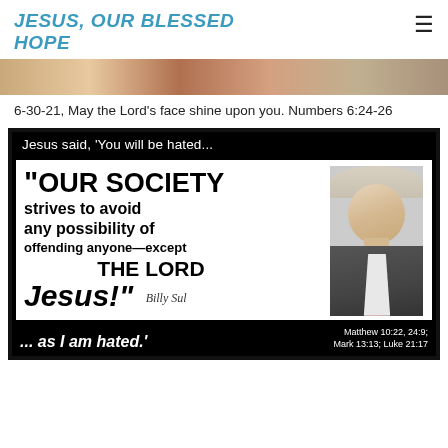JESUS, OUR BLESSED HOPE
[Figure (photo): Decorative banner image with ornate marbled texture in warm tones]
6-30-21, May the Lord's face shine upon you. Numbers 6:24-26
[Figure (infographic): Quote card with black border. Top text: 'Jesus said, You will be hated...' Inner white area with large bold quote: '"OUR SOCIETY strives to avoid any possibility of offending anyone—except THE LORD Jesus!"' with a signature (Billy Graham) and photo of an elderly man in suit. Bottom bar: '... as I am hated.' with scripture references Matthew 10:22, 24:9; Mark 13:13; Luke 21:17]